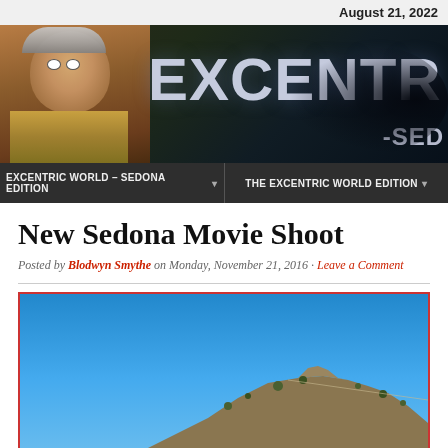August 21, 2022
[Figure (photo): Excentric World Sedona Edition website banner with elderly woman wearing a colander on her head and large text reading EXCENTRIC and -SED]
EXCENTRIC WORLD – SEDONA EDITION  |  THE EXCENTRIC WORLD EDITION
New Sedona Movie Shoot
Posted by Blodwyn Smythe on Monday, November 21, 2016 · Leave a Comment
[Figure (photo): Photo of Sedona landscape with bright blue sky and rocky hillside with vegetation]